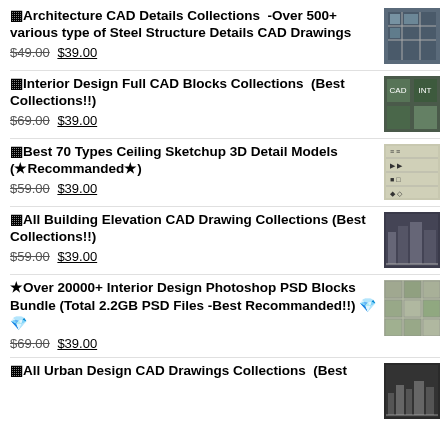⬛Architecture CAD Details Collections -Over 500+ various type of Steel Structure Details CAD Drawings $49.00 $39.00
⬛Interior Design Full CAD Blocks Collections (Best Collections!!) $69.00 $39.00
⬛Best 70 Types Ceiling Sketchup 3D Detail Models (★Recommanded★) $59.00 $39.00
⬛All Building Elevation CAD Drawing Collections (Best Collections!!) $59.00 $39.00
★Over 20000+ Interior Design Photoshop PSD Blocks Bundle (Total 2.2GB PSD Files -Best Recommanded!!) 💎💎 $69.00 $39.00
⬛All Urban Design CAD Drawings Collections (Best ...